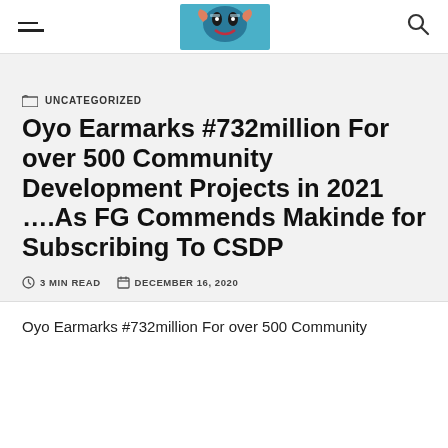UNCATEGORIZED
Oyo Earmarks #732million For over 500 Community Development Projects in 2021 ….As FG Commends Makinde for Subscribing To CSDP
3 MIN READ   DECEMBER 16, 2020
Oyo Earmarks #732million For over 500 Community